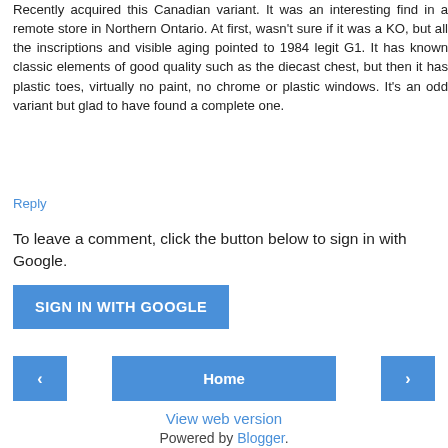Recently acquired this Canadian variant. It was an interesting find in a remote store in Northern Ontario. At first, wasn't sure if it was a KO, but all the inscriptions and visible aging pointed to 1984 legit G1. It has known classic elements of good quality such as the diecast chest, but then it has plastic toes, virtually no paint, no chrome or plastic windows. It's an odd variant but glad to have found a complete one.
Reply
To leave a comment, click the button below to sign in with Google.
SIGN IN WITH GOOGLE
Home
View web version
Powered by Blogger.